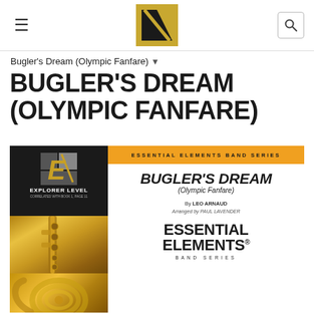≡   [Hal Leonard Logo]   🔍
Bugler's Dream (Olympic Fanfare) ▾
BUGLER'S DREAM (OLYMPIC FANFARE)
[Figure (photo): Sheet music cover for 'Bugler's Dream (Olympic Fanfare)' from Essential Elements Band Series, Explorer Level, arranged by Paul Lavender from Leo Arnaud, with instrument photos (clarinet, french horn) on the left side and Essential Elements logo on right]